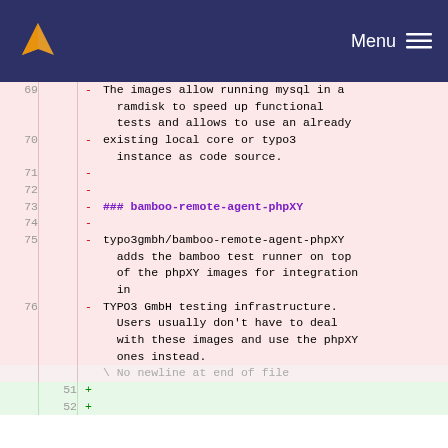Menu
69  - The images allow running mysql in a ramdisk to speed up functional tests and allows to use an already
70  - existing local core or typo3 instance as code source.
71  -
72  -
73  - ### bamboo-remote-agent-phpXY
74  -
75  - typo3gmbh/bamboo-remote-agent-phpXY adds the bamboo test runner on top of the phpXY images for integration in
76  - TYPO3 GmbH testing infrastructure. Users usually don't have to deal with these images and use the phpXY ones instead.
    \ No newline at end of file
51  +
52  +